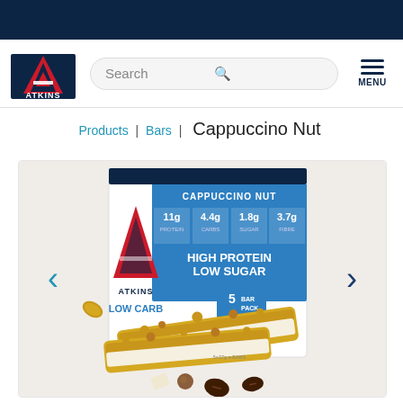Atkins website header with logo, search bar, and menu
Products | Bars | Cappuccino Nut
[Figure (photo): Atkins Cappuccino Nut bar product box showing 5-bar pack with nutritional info: 11g Protein, 4.4g Carbs, 1.8g Sugar, 3.7g Fibre. High Protein Low Sugar, Low Carb. Two bars shown in front of box with nuts, almonds, and coffee beans.]